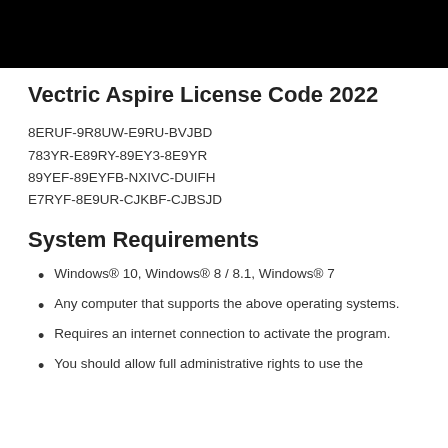[Figure (other): Black redacted banner at the top of the page]
Vectric Aspire License Code 2022
8ERUF-9R8UW-E9RU-BVJBD
783YR-E89RY-89EY3-8E9YR
89YEF-89EYFB-NXIVC-DUIFH
E7RYF-8E9UR-CJKBF-CJBSJD
System Requirements
Windows® 10, Windows® 8 / 8.1, Windows® 7
Any computer that supports the above operating systems.
Requires an internet connection to activate the program.
You should allow full administrative rights to use the